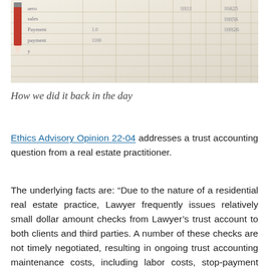[Figure (photo): Photo of a handwritten ledger/accounting sheet with grid lines, a red pencil visible at top left, and handwritten entries in the rows.]
How we did it back in the day
Ethics Advisory Opinion 22-04 addresses a trust accounting question from a real estate practitioner.
The underlying facts are: “Due to the nature of a residential real estate practice, Lawyer frequently issues relatively small dollar amount checks from Lawyer’s trust account to both clients and third parties. A number of these checks are not timely negotiated, resulting in ongoing trust accounting maintenance costs, including labor costs, stop-payment fees and mailing fees for